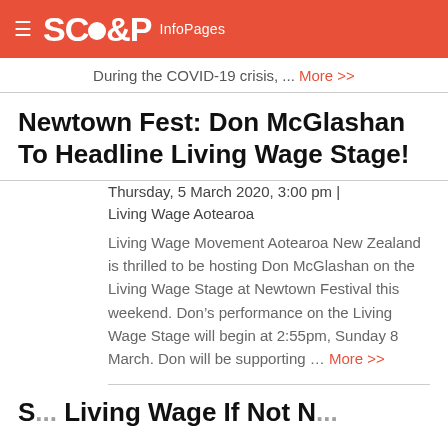≡ SCOOP InfoPages
During the COVID-19 crisis, ... More >>
Newtown Fest: Don McGlashan To Headline Living Wage Stage!
Thursday, 5 March 2020, 3:00 pm | Living Wage Aotearoa
Living Wage Movement Aotearoa New Zealand is thrilled to be hosting Don McGlashan on the Living Wage Stage at Newtown Festival this weekend. Don's performance on the Living Wage Stage will begin at 2:55pm, Sunday 8 March. Don will be supporting ... More >>
S... Living Wage If Not N...